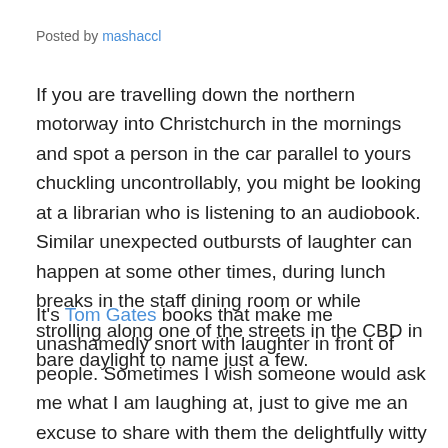Posted by mashaccl
If you are travelling down the northern motorway into Christchurch in the mornings and spot a person in the car parallel to yours chuckling uncontrollably, you might be looking at a librarian who is listening to an audiobook. Similar unexpected outbursts of laughter can happen at some other times, during lunch breaks in the staff dining room or while strolling along one of the streets in the CBD in bare daylight to name just a few.
It's Tom Gates books that make me unashamedly snort with laughter in front of people. Sometimes I wish someone would ask me what I am laughing at, just to give me an excuse to share with them the delightfully witty escapades of Tom Gates. Tom is a cheerful, excited, good-hearted boy, who loves doodling, eating caramel wafers